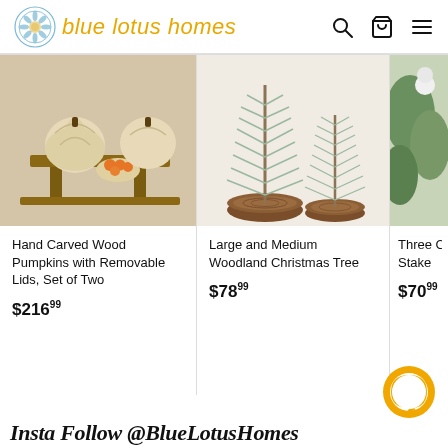[Figure (logo): Blue Lotus Homes logo with circular mandala icon and italic yellow text]
[Figure (photo): Hand carved wood pumpkins with removable lids on wooden risers]
Hand Carved Wood Pumpkins with Removable Lids, Set of Two
$216.99
[Figure (photo): Large and medium woodland Christmas trees on wood slice bases]
Large and Medium Woodland Christmas Tree
$78.99
[Figure (photo): Three (partial) Christmas stake decoration]
Three C... Stake
$70.99
[Figure (illustration): Orange chat bubble / messaging icon]
Insta Follow @BlueLotusHomes